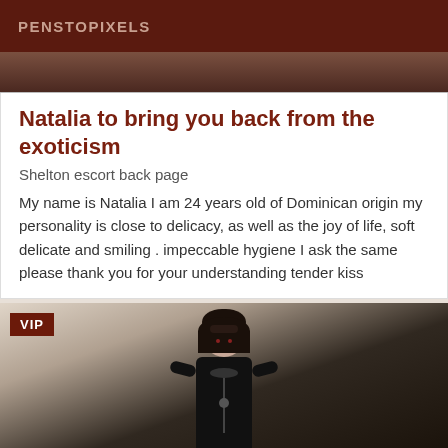PENSTOPIXELS
[Figure (photo): Partial photo visible at top, dark background image cropped]
Natalia to bring you back from the exoticism
Shelton escort back page
My name is Natalia I am 24 years old of Dominican origin my personality is close to delicacy, as well as the joy of life, soft delicate and smiling . impeccable hygiene I ask the same please thank you for your understanding tender kiss
[Figure (photo): Photo of a woman in black latex outfit with dark bob hair and blindfold, posing indoors. VIP badge overlay in top-left corner.]